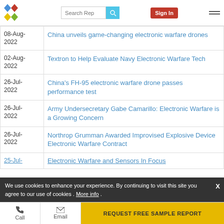Search Rep | Sign In
| Date | Article |
| --- | --- |
| 08-Aug-2022 | China unveils game-changing electronic warfare drones |
| 02-Aug-2022 | Textron to Help Evaluate Navy Electronic Warfare Tech |
| 26-Jul-2022 | China's FH-95 electronic warfare drone passes performance test |
| 26-Jul-2022 | Army Undersecretary Gabe Camarillo: Electronic Warfare is a Growing Concern |
| 26-Jul-2022 | Northrop Grumman Awarded Improvised Explosive Device Electronic Warfare Contract |
| 25-Jul-... | Electronic Warfare and Sensors In Focus |
We use cookies to enhance your experience. By continuing to visit this site you agree to our use of cookies . More info .
Call | Email | REQUEST FREE SAMPLE REPORT